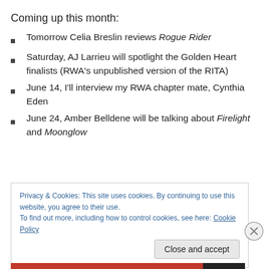Coming up this month:
Tomorrow Celia Breslin reviews Rogue Rider
Saturday, AJ Larrieu will spotlight the Golden Heart finalists (RWA's unpublished version of the RITA)
June 14, I'll interview my RWA chapter mate, Cynthia Eden
June 24, Amber Belldene will be talking about Firelight and Moonglow
Privacy & Cookies: This site uses cookies. By continuing to use this website, you agree to their use.
To find out more, including how to control cookies, see here: Cookie Policy
Close and accept